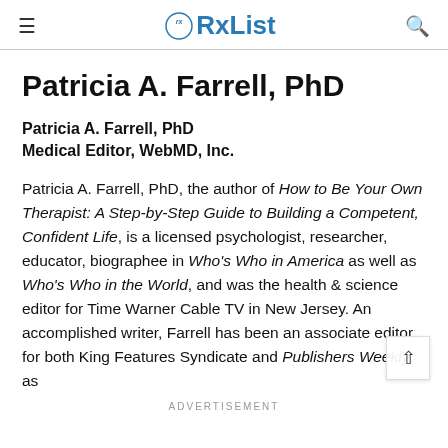RxList
Patricia A. Farrell, PhD
Patricia A. Farrell, PhD
Medical Editor, WebMD, Inc.
Patricia A. Farrell, PhD, the author of How to Be Your Own Therapist: A Step-by-Step Guide to Building a Competent, Confident Life, is a licensed psychologist, researcher, educator, biographee in Who's Who in America as well as Who's Who in the World, and was the health & science editor for Time Warner Cable TV in New Jersey. An accomplished writer, Farrell has been an associate editor for both King Features Syndicate and Publishers Weekly as
ADVERTISEMENT